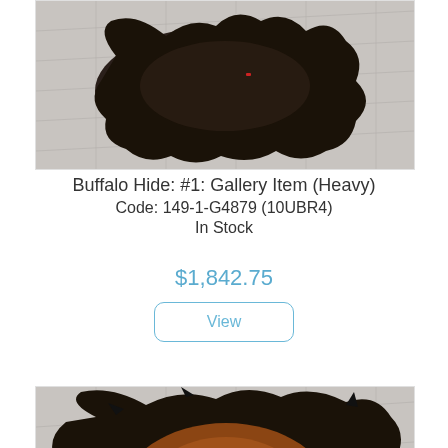[Figure (photo): Buffalo hide laid flat on a light wood-grain floor, dark brown/black fur, viewed from above]
Buffalo Hide: #1: Gallery Item (Heavy)
Code: 149-1-G4879 (10UBR4)
In Stock
$1,842.75
View
[Figure (photo): Buffalo hide laid flat on a light wood-grain floor, brown center with dark black/brown edges, fluffy thick fur, viewed from above]